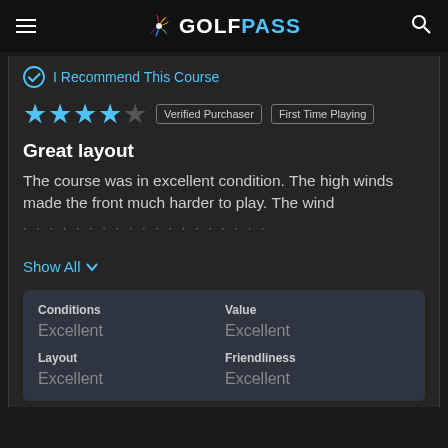GOLFPASS
I Recommend This Course
★★★★☆  Verified Purchaser  First Time Playing
Great layout
The course was in excellent condition. The high winds made the front much harder to play. The wind
Show All
| Conditions | Value |
| --- | --- |
| Excellent | Excellent |
| Layout | Friendliness |
| Excellent | Excellent |